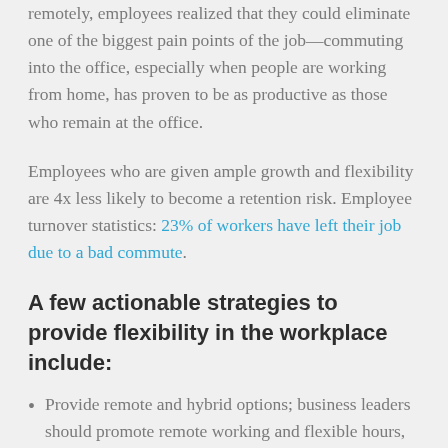remotely, employees realized that they could eliminate one of the biggest pain points of the job—commuting into the office, especially when people are working from home, has proven to be as productive as those who remain at the office.
Employees who are given ample growth and flexibility are 4x less likely to become a retention risk. Employee turnover statistics: 23% of workers have left their job due to a bad commute.
A few actionable strategies to provide flexibility in the workplace include:
Provide remote and hybrid options; business leaders should promote remote working and flexible hours, especially if your teamwork in terms